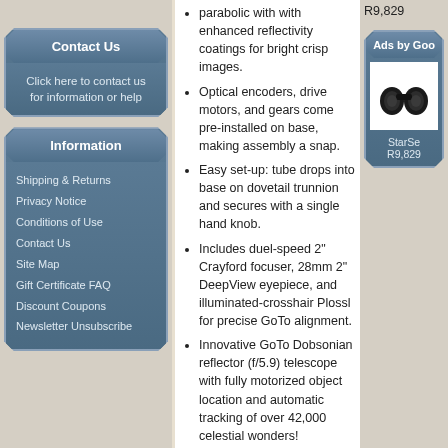R9,829
Contact Us
Click here to contact us for information or help
Information
Shipping & Returns
Privacy Notice
Conditions of Use
Contact Us
Site Map
Gift Certificate FAQ
Discount Coupons
Newsletter Unsubscribe
parabolic with with enhanced reflectivity coatings for bright crisp images.
Optical encoders, drive motors, and gears come pre-installed on base, making assembly a snap.
Easy set-up: tube drops into base on dovetail trunnion and secures with a single hand knob.
Includes duel-speed 2" Crayford focuser, 28mm 2" DeepView eyepiece, and illuminated-crosshair Plossl for precise GoTo alignment.
Innovative GoTo Dobsonian reflector (f/5.9) telescope with fully motorized object location and automatic tracking of over 42,000 celestial wonders!
8" aperture reflector optics reveal detailed views of the
Ads by Goo
StarSe
R9,829